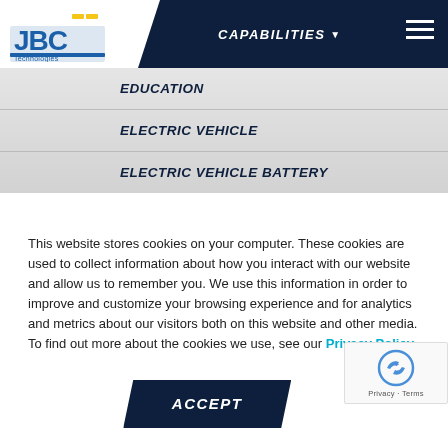[Figure (logo): JBC Technologies logo with blue and yellow design]
CAPABILITIES ▼
EDUCATION
ELECTRIC VEHICLE
ELECTRIC VEHICLE BATTERY
This website stores cookies on your computer. These cookies are used to collect information about how you interact with our website and allow us to remember you. We use this information in order to improve and customize your browsing experience and for analytics and metrics about our visitors both on this website and other media. To find out more about the cookies we use, see our Privacy Policy.
ACCEPT